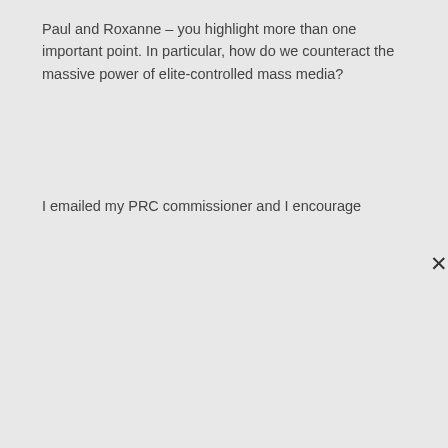Paul and Roxanne – you highlight more than one important point. In particular, how do we counteract the massive power of elite-controlled mass media?
I emailed my PRC commissioner and I encourage
GET RETAKE IN YOUR INBOX
Email Address
SUBSCRIBE
Join 4,164 other subscribers